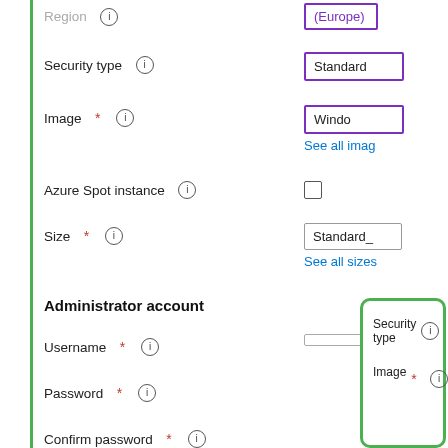Region (i) (Europe)...
Security type (i) Standard
Image * (i) Windows... See all imag...
Azure Spot instance (i) [checkbox]
Size * (i) Standard_  See all sizes
Administrator account
Username * (i)
Password * (i)
Confirm password * (i)
[Figure (screenshot): Tooltip/popup overlay showing 'Security type (i)' and 'Image * (i)' fields with green rounded border annotation]